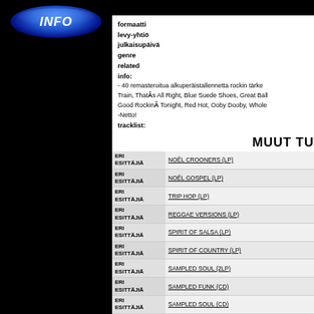[Figure (logo): Blue INFO button/badge on black background with vertical black bar below]
formaatti
levy-yhtiö
julkaisupäivä
genre
related
info:
- 40 remasteroitua alkuperäistallennetta rockin tärkeimmältä... Train, That's All Right, Blue Suede Shoes, Great Ball... Good Rockin' Tonight, Red Hot, Ooby Dooby, Whole...
-Netto!
tracklist:
MUUT TU
| Artist | Title |
| --- | --- |
| ERI ESITTÄJIÄ | NOËL CROONERS (LP) |
| ERI ESITTÄJIÄ | NOËL GOSPEL (LP) |
| ERI ESITTÄJIÄ | TRIP HOP (LP) |
| ERI ESITTÄJIÄ | REGGAE VERSIONS (LP) |
| ERI ESITTÄJIÄ | SPIRIT OF SALSA (LP) |
| ERI ESITTÄJIÄ | SPIRIT OF COUNTRY (LP) |
| ERI ESITTÄJIÄ | SAMPLED SOUL (2LP) |
| ERI ESITTÄJIÄ | SAMPLED FUNK (CD) |
| ERI ESITTÄJIÄ | SAMPLED SOUL (CD) |
| ERI ESITTÄJIÄ |  |